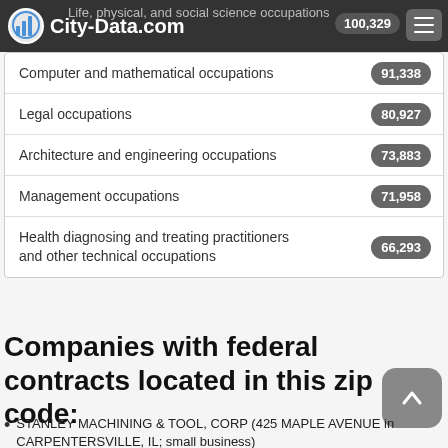City-Data.com — Life, physical, and social science occupations 100,329
| Occupation | Value |
| --- | --- |
| Computer and mathematical occupations | 91,338 |
| Legal occupations | 80,927 |
| Architecture and engineering occupations | 73,883 |
| Management occupations | 71,958 |
| Health diagnosing and treating practitioners and other technical occupations | 66,293 |
Companies with federal contracts located in this zip code:
STANLEY MACHINING & TOOL, CORP (425 MAPLE AVENUE in CARPENTERSVILLE, IL; small business)